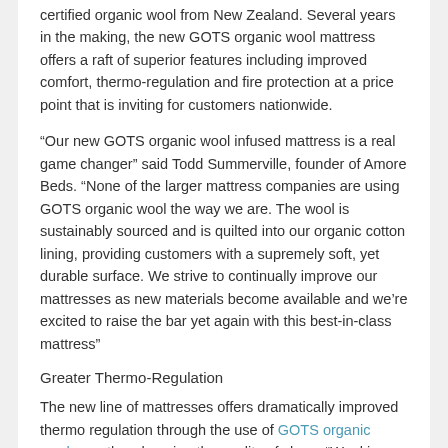certified organic wool from New Zealand. Several years in the making, the new GOTS organic wool mattress offers a raft of superior features including improved comfort, thermo-regulation and fire protection at a price point that is inviting for customers nationwide.
“Our new GOTS organic wool infused mattress is a real game changer” said Todd Summerville, founder of Amore Beds. “None of the larger mattress companies are using GOTS organic wool the way we are. The wool is sustainably sourced and is quilted into our organic cotton lining, providing customers with a supremely soft, yet durable surface. We strive to continually improve our mattresses as new materials become available and we’re excited to raise the bar yet again with this best-in-class mattress”
Greater Thermo-Regulation
The new line of mattresses offers dramatically improved thermo regulation through the use of GOTS organic wool, greatly enhancing the quality of sleep. “Wool is naturally breathable and acts as an ideal thermo regulator by cushioning you with a pocket of air” continues Summerville. “This pocket of air helps to regulate your body temperature, no matter the weather or season. We’re proud to be one of the first online mattress companies in America to harness the thermo-